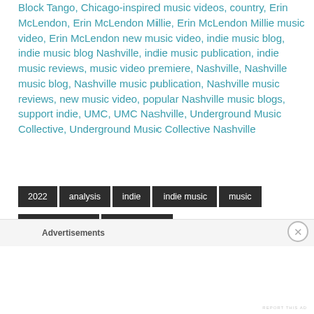Block Tango, Chicago-inspired music videos, country, Erin McLendon, Erin McLendon Millie, Erin McLendon Millie music video, Erin McLendon new music video, indie music blog, indie music blog Nashville, indie music publication, indie music reviews, music video premiere, Nashville, Nashville music blog, Nashville music publication, Nashville music reviews, new music video, popular Nashville music blogs, support indie, UMC, UMC Nashville, Underground Music Collective, Underground Music Collective Nashville
2022
analysis
indie
indie music
music
music industry
music news
Music On The Move Studios
music resource
Advertisements